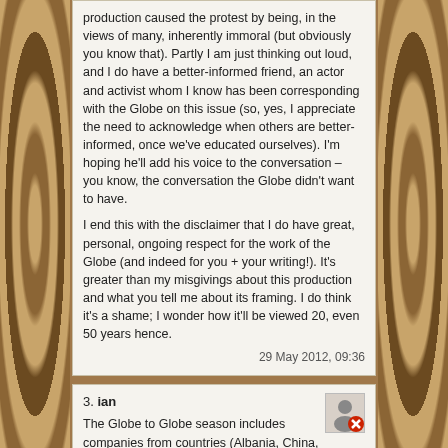production caused the protest by being, in the views of many, inherently immoral (but obviously you know that). Partly I am just thinking out loud, and I do have a better-informed friend, an actor and activist whom I know has been corresponding with the Globe on this issue (so, yes, I appreciate the need to acknowledge when others are better-informed, once we've educated ourselves). I'm hoping he'll add his voice to the conversation – you know, the conversation the Globe didn't want to have.

I end this with the disclaimer that I do have great, personal, ongoing respect for the work of the Globe (and indeed for you + your writing!). It's greater than my misgivings about this production and what you tell me about its framing. I do think it's a shame; I wonder how it'll be viewed 20, even 50 years hence.
29 May 2012, 09:36
3. ian
The Globe to Globe season includes companies from countries (Albania, China, Georgia, Serbia, Pakistan, Russia, – to name a few) with far worse human rights records than Israel. To single out the Jewish cast of the Merchant of Venice for special treatment is an act